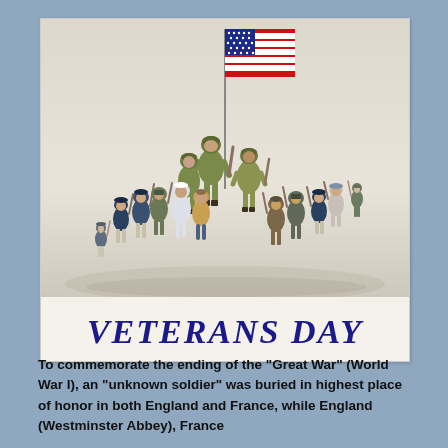[Figure (illustration): Illustration of military personnel from various eras of American history marching in a V-formation, carrying an American flag in the center. The group includes soldiers in Revolutionary War uniforms, Civil War uniforms, World War era uniforms, Vietnam-era camouflage, a Navy sailor, and a woman in civilian clothing. Below the illustration is text reading 'VETERANS DAY' in large dark blue italic letters.]
To commemorate the ending of the "Great War" (World War I), an "unknown soldier" was buried in highest place of honor in both England and France, while England (Westminster Abbey), France